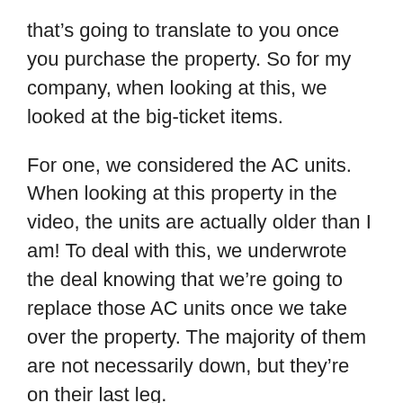that’s going to translate to you once you purchase the property. So for my company, when looking at this, we looked at the big-ticket items.
For one, we considered the AC units. When looking at this property in the video, the units are actually older than I am! To deal with this, we underwrote the deal knowing that we’re going to replace those AC units once we take over the property. The majority of them are not necessarily down, but they’re on their last leg.
Something that came up in the inspections was that they’re not a safety hazard at this point, but they need to be more properly secured. So there was a significant amount of cost that was associated with that.